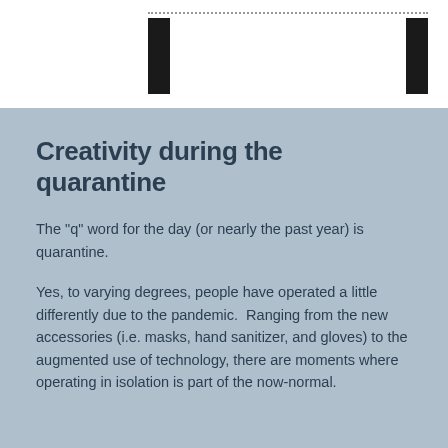Creativity during the quarantine
The "q" word for the day (or nearly the past year) is quarantine.
Yes, to varying degrees, people have operated a little differently due to the pandemic.  Ranging from the new accessories (i.e. masks, hand sanitizer, and gloves) to the augmented use of technology, there are moments where operating in isolation is part of the now-normal.